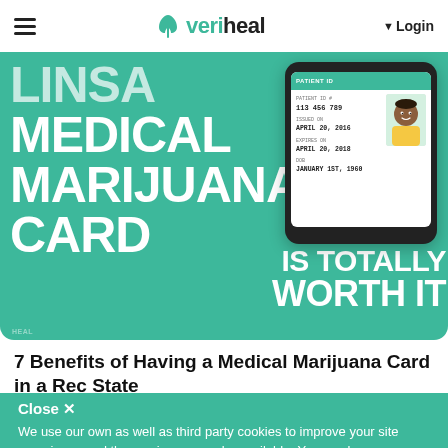veriheal — Login
[Figure (illustration): Hero banner with teal background showing large white bold text reading 'MEDICAL MARIJUANA CARD IS TOTALLY WORTH IT' with an illustrated ID card mockup on the right featuring a cartoon person avatar and sample patient ID details including Patient ID 113 456 789, Issued on April 20, 2016, Expires on April 20, 2018, DOB January 1st, 1960.]
7 Benefits of Having a Medical Marijuana Card in a Rec State
Close ✕
We use our own as well as third party cookies to improve your site experience and the services we make available. You can learn more about our use of cookies in our Privacy Policy.